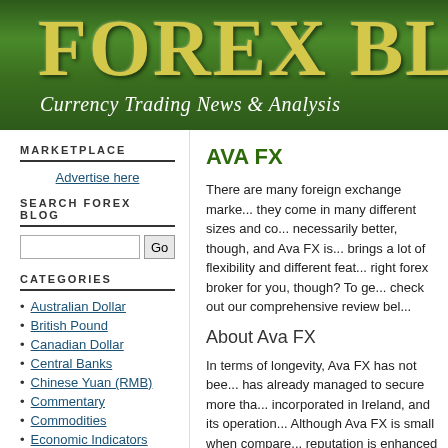FOREX BLOG - Currency Trading News & Analysis
MARKETPLACE
Advertise here
SEARCH FOREX BLOG
CATEGORIES
Australian Dollar
British Pound
Canadian Dollar
Central Banks
Chinese Yuan (RMB)
Commentary
Commodities
Economic Indicators
AVA FX
There are many foreign exchange marke... they come in many different sizes and co... necessarily better, though, and Ava FX is... brings a lot of flexibility and different feat... right forex broker for you, though? To ge... check out our comprehensive review bel...
About Ava FX
In terms of longevity, Ava FX has not bee... has already managed to secure more tha... incorporated in Ireland, and its operation... Although Ava FX is small when compare... reputation is enhanced by the fact that it... institution has been given an "A+" rating...